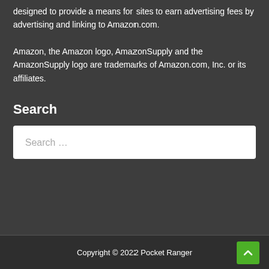designed to provide a means for sites to earn advertising fees by advertising and linking to Amazon.com.
Amazon, the Amazon logo, AmazonSupply and the AmazonSupply logo are trademarks of Amazon.com, Inc. or its affiliates.
Search
Search …
Copyright © 2022 Pocket Ranger